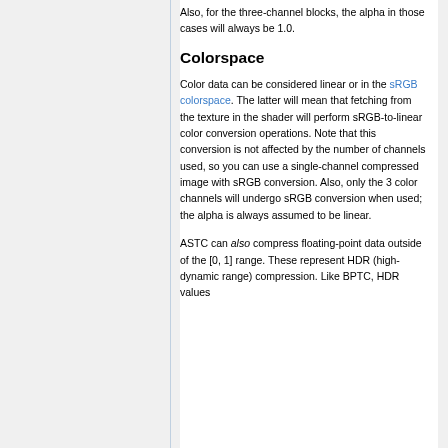Also, for the three-channel blocks, the alpha in those cases will always be 1.0.
Colorspace
Color data can be considered linear or in the sRGB colorspace. The latter will mean that fetching from the texture in the shader will perform sRGB-to-linear color conversion operations. Note that this conversion is not affected by the number of channels used, so you can use a single-channel compressed image with sRGB conversion. Also, only the 3 color channels will undergo sRGB conversion when used; the alpha is always assumed to be linear.
ASTC can also compress floating-point data outside of the [0, 1] range. These represent HDR (high-dynamic range) compression. Like BPTC, HDR values